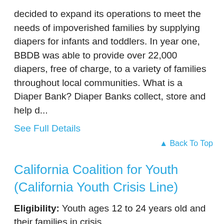decided to expand its operations to meet the needs of impoverished families by supplying diapers for infants and toddlers. In year one, BBDB was able to provide over 22,000 diapers, free of charge, to a variety of families throughout local communities. What is a Diaper Bank? Diaper Banks collect, store and help d...
See Full Details
Back To Top
California Coalition for Youth (California Youth Crisis Line)
Eligibility: Youth ages 12 to 24 years old and their families in crisis.
Fees: None
California Youth Crisis Line is a 24 hour crisis line...